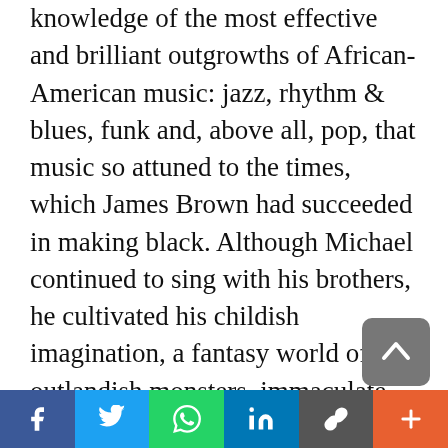knowledge of the most effective and brilliant outgrowths of African-American music: jazz, rhythm & blues, funk and, above all, pop, that music so attuned to the times, which James Brown had succeeded in making black. Although Michael continued to sing with his brothers, he cultivated his childish imagination, a fantasy world of outlandish monsters, immaculate children and fabulous creatures. This strangeness, which some call a pathology, can hardly be compared to the neurotic excesses of Elvis Presley or Marlon Brando, for it cannot be reduced to a mere negation or parasitizing
Social share bar: Facebook, Twitter, WhatsApp, LinkedIn, Copy link, More